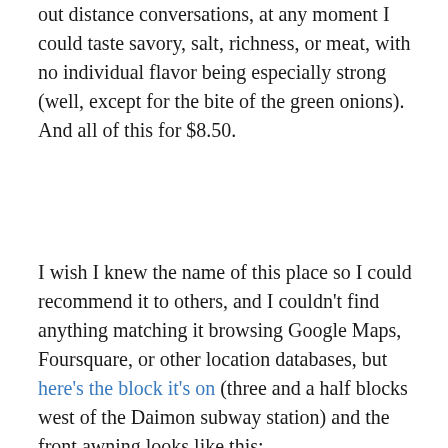out distance conversations, at any moment I could taste savory, salt, richness, or meat, with no individual flavor being especially strong (well, except for the bite of the green onions). And all of this for $8.50.
I wish I knew the name of this place so I could recommend it to others, and I couldn't find anything matching it browsing Google Maps, Foursquare, or other location databases, but here's the block it's on (three and a half blocks west of the Daimon subway station) and the front awning looks like this:
[Figure (photo): Photo of a Japanese restaurant sign with a red background framed in dark wood, showing Japanese kanji characters in dark and gold colors. A lamp fixture is visible in the lower left.]